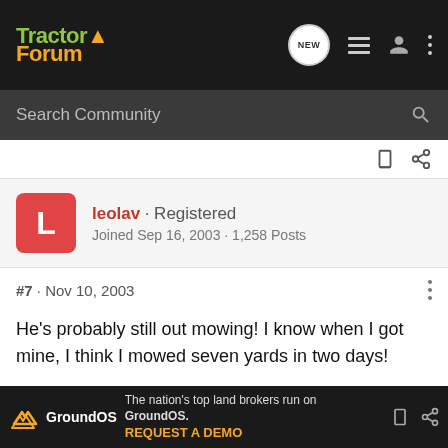TractorForum
Search Community
leolav · Registered
Joined Sep 16, 2003 · 1,258 Posts
#7 · Nov 10, 2003
He's probably still out mowing! I know when I got mine, I think I mowed seven yards in two days!

I did my 5 hr oil change the next day!
[Figure (screenshot): GroundOS advertisement banner: 'The nation's top land brokers run on GroundOS. REQUEST A DEMO']